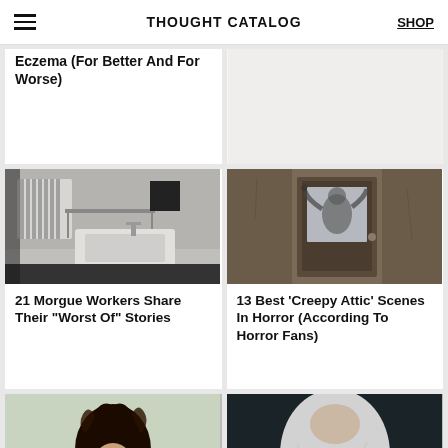THOUGHT CATALOG | SHOP
Eczema (For Better And For Worse)
[Figure (photo): Empty white top-right card area]
[Figure (photo): Black and white photo of a morgue sink and shelf]
21 Morgue Workers Share Their “Worst Of” Stories
[Figure (photo): Dark atmospheric photo of a shadowy figure behind a frosted glass door]
13 Best ‘Creepy Attic’ Scenes In Horror (According To Horror Fans)
[Figure (photo): Photo of a person with curly hair outdoors]
[Figure (photo): Photo of a person in white clothing on dark background]